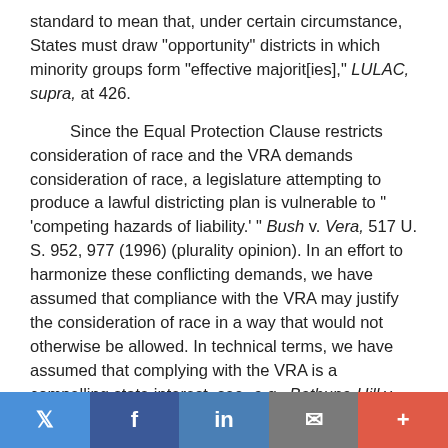standard to mean that, under certain circumstance, States must draw "opportunity" districts in which minority groups form "effective majorit[ies]," LULAC, supra, at 426.
Since the Equal Protection Clause restricts consideration of race and the VRA demands consideration of race, a legislature attempting to produce a lawful districting plan is vulnerable to " 'competing hazards of liability.' " Bush v. Vera, 517 U. S. 952, 977 (1996) (plurality opinion). In an effort to harmonize these conflicting demands, we have assumed that compliance with the VRA may justify the consideration of race in a way that would not otherwise be allowed. In technical terms, we have assumed that complying with the VRA is a compelling state interest, see, e.g., Bethune-Hill v. Virginia State Bd. of Elections, 580 U. S. ___, ___ (2017) (slip op., at 13); Shaw v. Hunt, 517 U. S. 899, 915 (1996), and that a State's consideration of race in making a districting
Twitter | Facebook | LinkedIn | Email | +